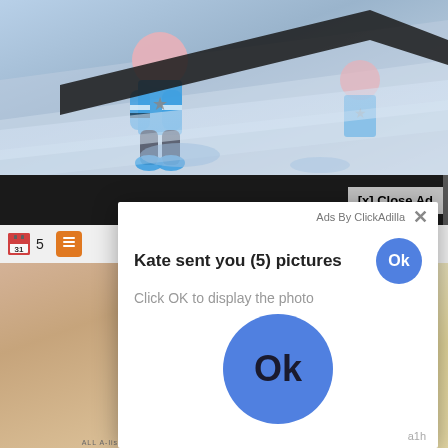[Figure (screenshot): Background screenshot showing animated or video content with cartoon/game characters in blue costume on a reflective surface]
[x] Close Ad
Ads By ClickAdilla  ×
Kate sent you (5) pictures
Click OK to display the photo
[Figure (screenshot): Large blue circular OK button in center of popup dialog]
a1h